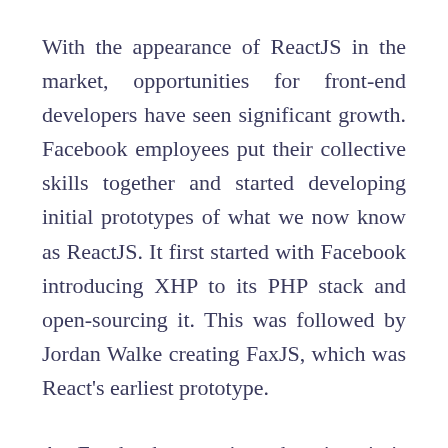With the appearance of ReactJS in the market, opportunities for front-end developers have seen significant growth. Facebook employees put their collective skills together and started developing initial prototypes of what we now know as ReactJS. It first started with Facebook introducing XHP to its PHP stack and open-sourcing it. This was followed by Jordan Walke creating FaxJS, which was React's earliest prototype.
As Facebook grew into the giant it is today, its ads program became harder and harder to manage. Jordan Walke